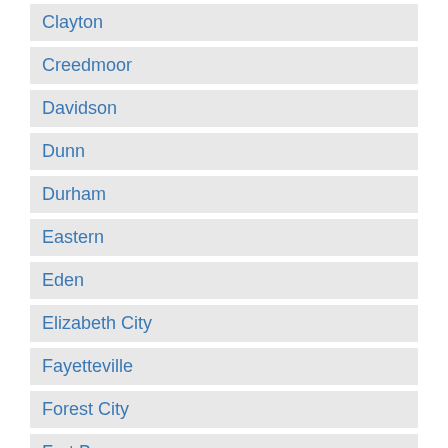Clayton
Creedmoor
Davidson
Dunn
Durham
Eastern
Eden
Elizabeth City
Fayetteville
Forest City
Fort Bragg
Gastonia
Goldsboro